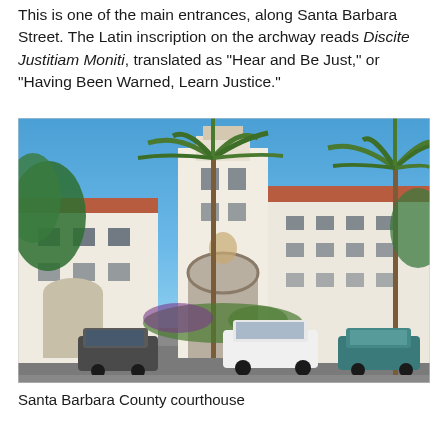This is one of the main entrances, along Santa Barbara Street. The Latin inscription on the archway reads Discite Justitiam Moniti, translated as "Hear and Be Just," or "Having Been Warned, Learn Justice."
[Figure (photo): Exterior photograph of Santa Barbara County courthouse, a white Spanish Colonial Revival building with a tall tower, arched entranceway, red tile roofs, and palm trees in the foreground under a clear blue sky. Cars are parked in front.]
Santa Barbara County courthouse